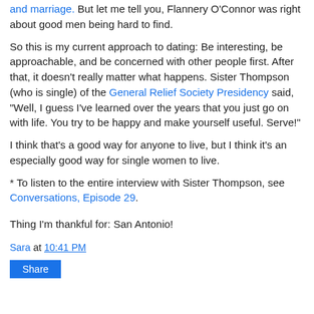and marriage. But let me tell you, Flannery O'Connor was right about good men being hard to find.
So this is my current approach to dating: Be interesting, be approachable, and be concerned with other people first. After that, it doesn't really matter what happens. Sister Thompson (who is single) of the General Relief Society Presidency said, "Well, I guess I've learned over the years that you just go on with life. You try to be happy and make yourself useful. Serve!"
I think that's a good way for anyone to live, but I think it's an especially good way for single women to live.
* To listen to the entire interview with Sister Thompson, see Conversations, Episode 29.
Thing I'm thankful for: San Antonio!
Sara at 10:41 PM
Share